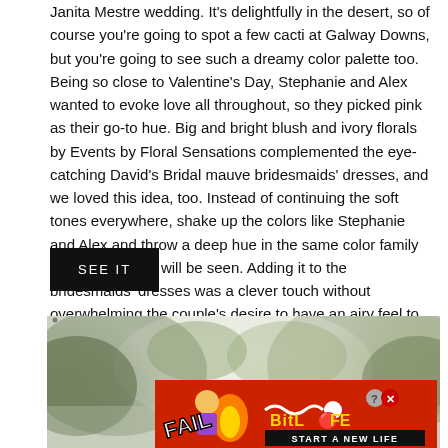Janita Mestre wedding. It's delightfully in the desert, so of course you're going to spot a few cacti at Galway Downs, but you're going to see such a dreamy color palette too. Being so close to Valentine's Day, Stephanie and Alex wanted to evoke love all throughout, so they picked pink as their go-to hue. Big and bright blush and ivory florals by Events by Floral Sensations complemented the eye-catching David's Bridal mauve bridesmaids' dresses, and we loved this idea, too. Instead of continuing the soft tones everywhere, shake up the colors like Stephanie and Alex and throw a deep hue in the same color family somewhere that will be seen. Adding it to the bridesmaids' dresses was a clever touch without overwhelming the couple's desire to have an airy feel to their wedding day.
SEE IT
[Figure (photo): Outdoor photo with blurred trees and foliage in the background, bright white sky visible through leaves]
[Figure (other): BitLife advertisement banner with red background, 'FAIL' text, cartoon character, flame graphic, and 'START A NEW LIFE' tagline]